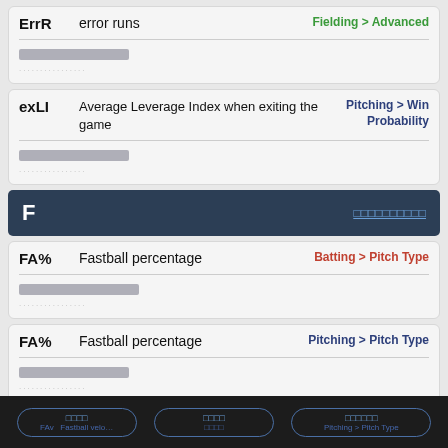ErrR — error runs | Fielding > Advanced
[redacted description]
exLI — Average Leverage Index when exiting the game | Pitching > Win Probability
[redacted description]
F
FA% — Fastball percentage | Batting > Pitch Type
[redacted description]
FA% — Fastball percentage | Pitching > Pitch Type
[redacted description]
FAv — Fastball velocity | Batting > Pitch Type
[redacted description]
[nav buttons: redacted labels]